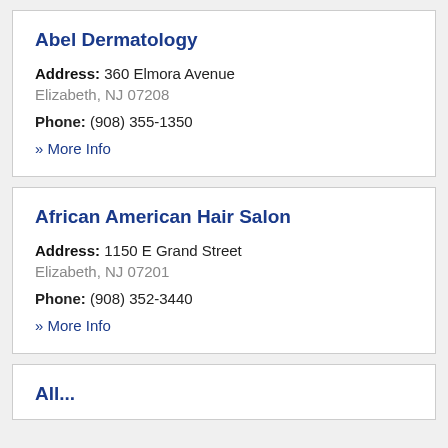Abel Dermatology
Address: 360 Elmora Avenue
Elizabeth, NJ 07208
Phone: (908) 355-1350
» More Info
African American Hair Salon
Address: 1150 E Grand Street
Elizabeth, NJ 07201
Phone: (908) 352-3440
» More Info
All...t D...r Sh...